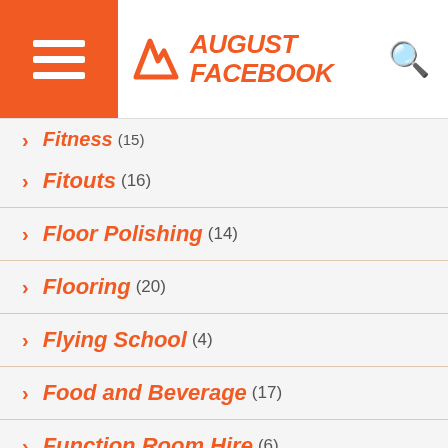August Facebook
Fitouts (16)
Floor Polishing (14)
Flooring (20)
Flying School (4)
Food and Beverage (17)
Function Room Hire (6)
Furniture (2)
Gambling (1)
Game (2)
Graphics Card (2)